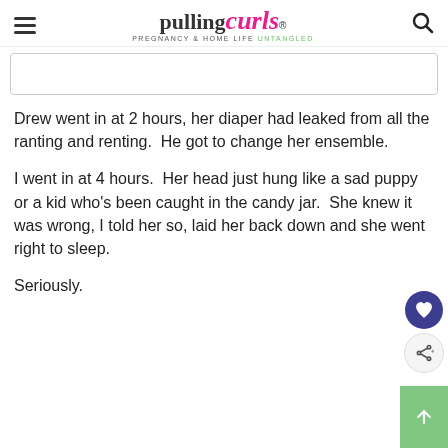pulling curls — PREGNANCY & HOME LIFE UNTANGLED
Drew went in at 2 hours, her diaper had leaked from all the ranting and renting.  He got to change her ensemble.
I went in at 4 hours.  Her head just hung like a sad puppy or a kid who's been caught in the candy jar.  She knew it was wrong, I told her so, laid her back down and she went right to sleep.
Seriously.